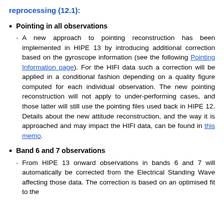reprocessing (12.1):
Pointing in all observations
A new approach to pointing reconstruction has been implemented in HIPE 13 by introducing additional correction based on the gyroscope information (see the following Pointing Information page). For the HIFI data such a correction will be applied in a conditional fashion depending on a quality figure computed for each individual observation. The new pointing reconstruction will not apply to under-performing cases, and those latter will still use the pointing files used back in HIPE 12. Details about the new attitude reconstruction, and the way it is approached and may impact the HIFI data, can be found in this memo.
Band 6 and 7 observations
From HIPE 13 onward observations in bands 6 and 7 will automatically be corrected from the Electrical Standing Wave affecting those data. The correction is based on an optimised fit to the